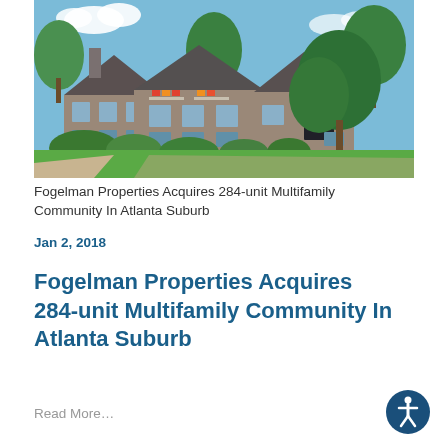[Figure (photo): Exterior photo of a multifamily apartment community building with gray/brown siding, white trim, flower boxes on balconies, surrounded by green trees and landscaped lawn under blue sky.]
Fogelman Properties Acquires 284-unit Multifamily Community In Atlanta Suburb
Jan 2, 2018
Fogelman Properties Acquires 284-unit Multifamily Community In Atlanta Suburb
Read More…